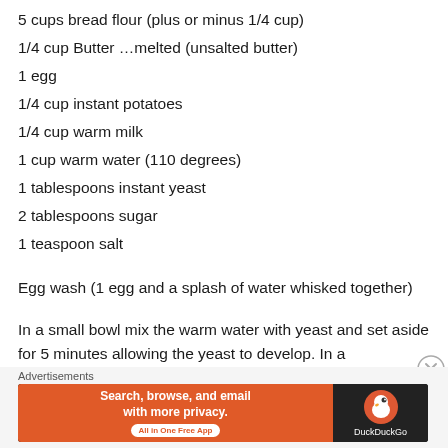5 cups bread flour (plus or minus 1/4 cup)
1/4 cup Butter …melted (unsalted butter)
1 egg
1/4 cup instant potatoes
1/4 cup warm milk
1 cup warm water (110 degrees)
1 tablespoons instant yeast
2 tablespoons sugar
1 teaspoon salt
Egg wash (1 egg and a splash of water whisked together)
In a small bowl mix the warm water with yeast and set aside for 5 minutes allowing the yeast to develop. In a
Advertisements